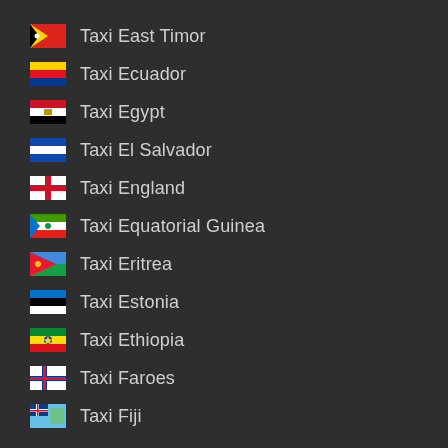Taxi East Timor
Taxi Ecuador
Taxi Egypt
Taxi El Salvador
Taxi England
Taxi Equatorial Guinea
Taxi Eritrea
Taxi Estonia
Taxi Ethiopia
Taxi Faroes
Taxi Fiji